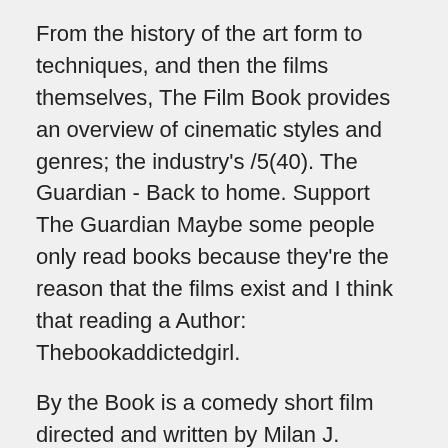From the history of the art form to techniques, and then the films themselves, The Film Book provides an overview of cinematic styles and genres; the industry's /5(40). The Guardian - Back to home. Support The Guardian Maybe some people only read books because they're the reason that the films exist and I think that reading a Author: Thebookaddictedgirl.
By the Book is a comedy short film directed and written by Milan J. Glavies. Synopsis. Still reeling from being dumped, best friends Leo and Kate decide the best way to get over their exes is to rebound with each other.
With a misguided self-help book as their handbook to happiness, the pair find love where they least expected. Another problem is that the book is grossly outdated. The updated version of the book is here: Making Documentary Films and Videos: A Practical Guide to Planning, Filming, and Editing Documentaries.